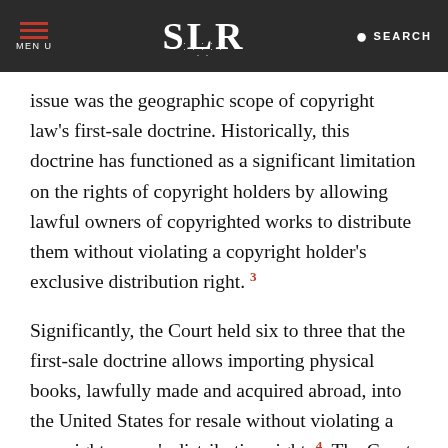MENU | SLR | SEARCH
issue was the geographic scope of copyright law's first-sale doctrine. Historically, this doctrine has functioned as a significant limitation on the rights of copyright holders by allowing lawful owners of copyrighted works to distribute them without violating a copyright holder's exclusive distribution right. 3
Significantly, the Court held six to three that the first-sale doctrine allows importing physical books, lawfully made and acquired abroad, into the United States for resale without violating a copyright owner's distribution right. 4  The Court previously held in Quality King Distributors, Inc. v. L'anza Research International, Inc. that first-sale rights allow for copyrighted works originally and lawfully made in the United States to be reimported, 5  and in Kirtsaeng the Court completed the circle. In short, the first-sale doctrine includes no geographic limitations, so long as the copyrighted work was